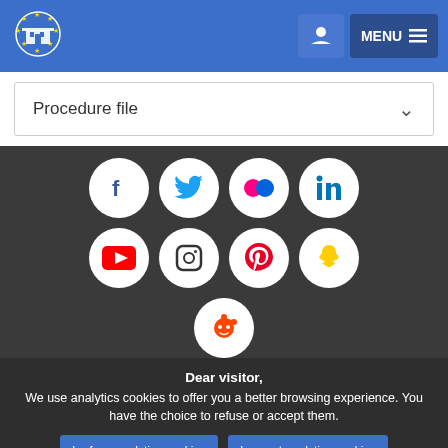European Parliament header with logo and MENU button
Procedure file
[Figure (illustration): Social media icons in white circles on dark background: Facebook, Twitter, Flickr, LinkedIn, YouTube, Instagram, Pinterest, Snapchat, Reddit]
Dear visitor, We use analytics cookies to offer you a better browsing experience. You have the choice to refuse or accept them.
I refuse analytics cookies
I accept analytics cookies
For any information on the other cookies and server logs we use, we invite you to read our data protection policy , our cookies policy and our cookies inventory.